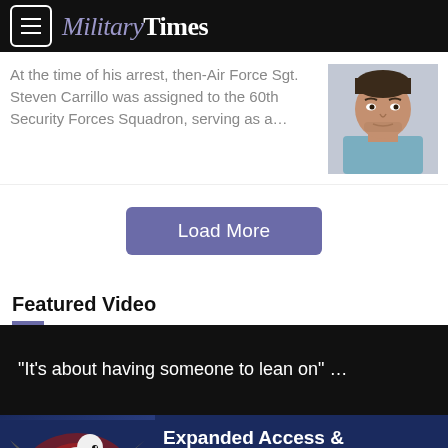MilitaryTimes
At the time of his arrest, then-Air Force Sgt. Steven Carrillo was assigned to the 60th Security Forces Squadron, serving as a…
[Figure (photo): Mugshot photo of then-Air Force Sgt. Steven Carrillo]
Load More
Featured Video
"It's about having someone to lean on" …
[Figure (infographic): Advertisement banner for Commissary with bald eagle and text: Expanded Access & Exclusive Savings for Veterans! Find out if you're eligible. LEARN MORE >>]